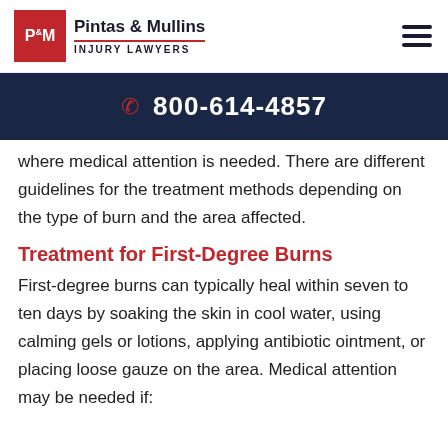[Figure (logo): Pintas & Mullins Injury Lawyers logo with red P&M box and firm name]
800-614-4857
where medical attention is needed. There are different guidelines for the treatment methods depending on the type of burn and the area affected.
Treatment for First-Degree Burns
First-degree burns can typically heal within seven to ten days by soaking the skin in cool water, using calming gels or lotions, applying antibiotic ointment, or placing loose gauze on the area. Medical attention may be needed if: